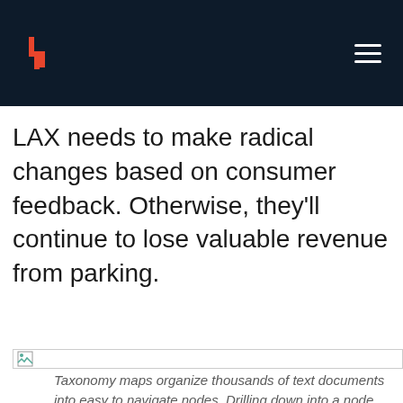LAX needs to make radical changes based on consumer feedback. Otherwise, they'll continue to lose valuable revenue from parking.
[Figure (other): Image placeholder with broken image icon indicating an image that failed to load]
Taxonomy maps organize thousands of text documents into easy to navigate nodes. Drilling down into a node tells you more about the